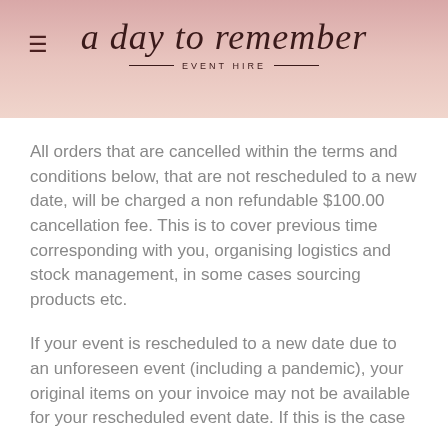a day to remember EVENT HIRE
All orders that are cancelled within the terms and conditions below, that are not rescheduled to a new date, will be charged a non refundable $100.00 cancellation fee. This is to cover previous time corresponding with you, organising logistics and stock management, in some cases sourcing products etc.
If your event is rescheduled to a new date due to an unforeseen event (including a pandemic), your original items on your invoice may not be available for your rescheduled event date. If this is the case